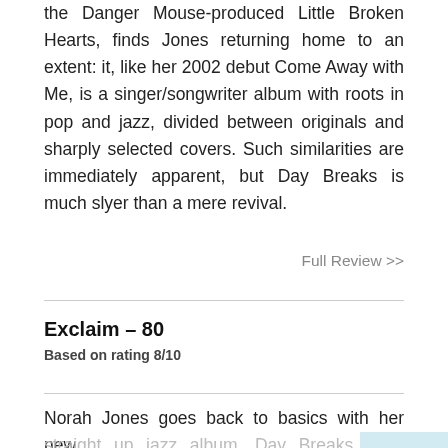the Danger Mouse-produced Little Broken Hearts, finds Jones returning home to an extent: it, like her 2002 debut Come Away with Me, is a singer/songwriter album with roots in pop and jazz, divided between originals and sharply selected covers. Such similarities are immediately apparent, but Day Breaks is much slyer than a mere revival.
Full Review >>
Exclaim – 80
Based on rating 8/10
Norah Jones goes back to basics with her new straight up jazz album, Day Breaks. While 2002 breakout debut Come Away With Me is